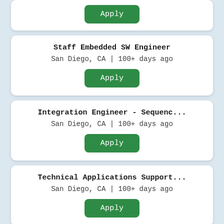[Figure (screenshot): Partial job listing card showing only an Apply button at the top of the page, cut off.]
Staff Embedded SW Engineer
San Diego, CA | 100+ days ago
[Figure (screenshot): Green Apply button for Staff Embedded SW Engineer listing]
Integration Engineer - Sequenc...
San Diego, CA | 100+ days ago
[Figure (screenshot): Green Apply button for Integration Engineer listing]
Technical Applications Support...
San Diego, CA | 100+ days ago
[Figure (screenshot): Green Apply button for Technical Applications Support listing]